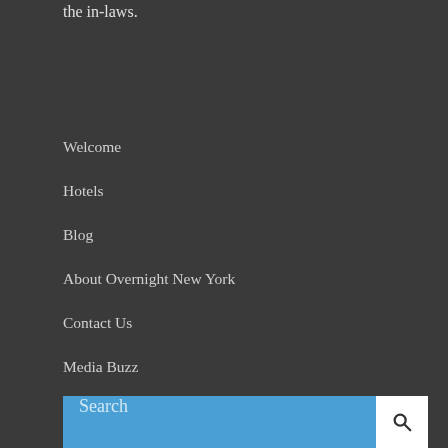the in-laws.
Welcome
Hotels
Blog
About Overnight New York
Contact Us
Media Buzz